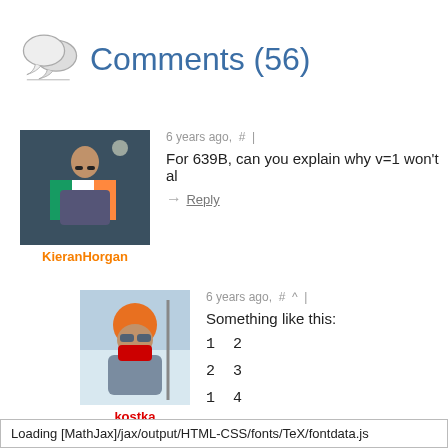Comments (56)
6 years ago, # |
For 639B, can you explain why v=1 won't al
→ Reply
KieranHorgan
6 years ago, # ^ |
Something like this:
1  2
2  3
1  4
→ Reply
kostka
Loading [MathJax]/jax/output/HTML-CSS/fonts/TeX/fontdata.js